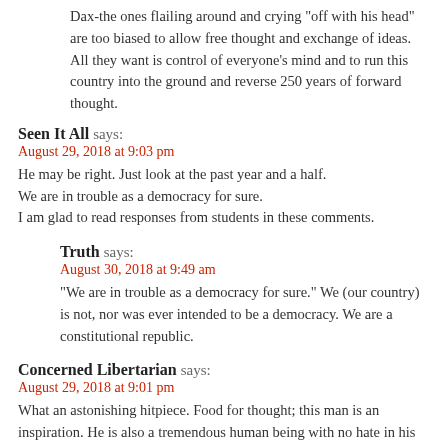Dax-the ones flailing around and crying "off with his head" are too biased to allow free thought and exchange of ideas. All they want is control of everyone's mind and to run this country into the ground and reverse 250 years of forward thought.
Seen It All says:
August 29, 2018 at 9:03 pm
He may be right. Just look at the past year and a half.
We are in trouble as a democracy for sure.
I am glad to read responses from students in these comments.
Truth says:
August 30, 2018 at 9:49 am
"We are in trouble as a democracy for sure." We (our country) is not, nor was ever intended to be a democracy. We are a constitutional republic.
Concerned Libertarian says:
August 29, 2018 at 9:01 pm
What an astonishing hitpiece. Food for thought; this man is an inspiration. He is also a tremendous human being with no hate in his heart.

Not ONCE has anything resembling a hyperbolic personal opinion made its way into a classroom lecture.

Not ONCE has he ever failed to properly delineate a personal opinion